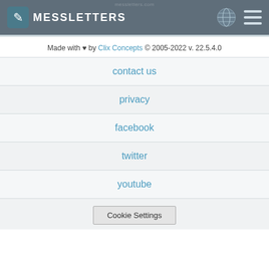MessLetters navigation menu page with globe icon and hamburger menu
Made with ♥ by Clix Concepts © 2005-2022 v. 22.5.4.0
contact us
privacy
facebook
twitter
youtube
Cookie Settings